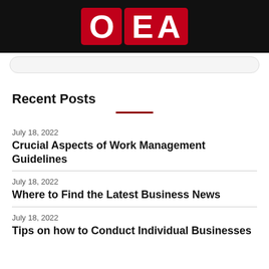[Figure (logo): OEA logo — white letters O, E, A on red background tiles, set on a black header bar]
Recent Posts
July 18, 2022
Crucial Aspects of Work Management Guidelines
July 18, 2022
Where to Find the Latest Business News
July 18, 2022
Tips on how to Conduct Individual Businesses